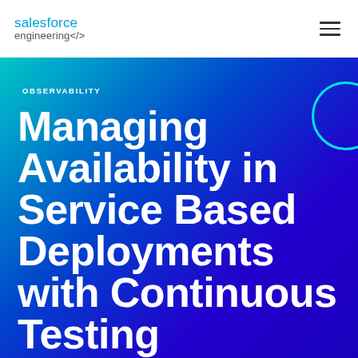salesforce engineering</>
OBSERVABILITY
Managing Availability in Service Based Deployments with Continuous Testing